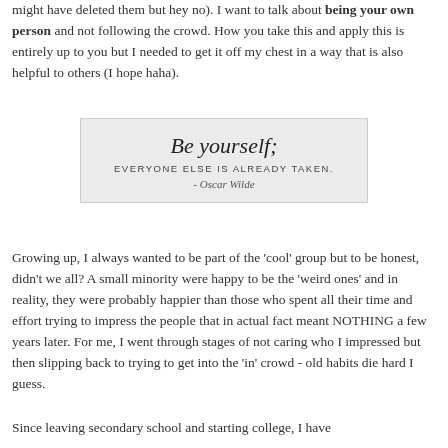might have deleted them but hey no). I want to talk about being your own person and not following the crowd. How you take this and apply this is entirely up to you but I needed to get it off my chest in a way that is also helpful to others (I hope haha).
[Figure (illustration): Quote image on light gray background: 'Be yourself; EVERYONE ELSE IS ALREADY TAKEN. - Oscar Wilde']
Growing up, I always wanted to be part of the 'cool' group but to be honest, didn't we all? A small minority were happy to be the 'weird ones' and in reality, they were probably happier than those who spent all their time and effort trying to impress the people that in actual fact meant NOTHING a few years later. For me, I went through stages of not caring who I impressed but then slipping back to trying to get into the 'in' crowd - old habits die hard I guess.
Since leaving secondary school and starting college, I have